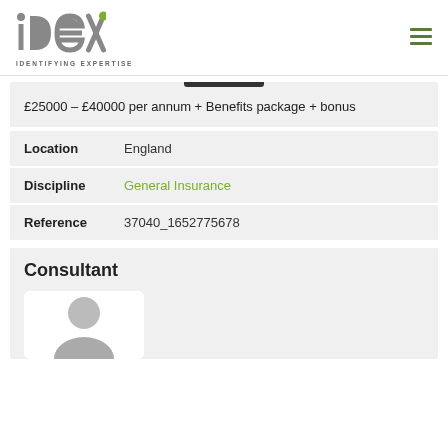[Figure (logo): IDEX Consulting logo with text 'IDENTIFYING EXPERTISE']
£25000 – £40000 per annum + Benefits package + bonus
Location    England
Discipline    General Insurance
Reference    37040_1652775678
Consultant